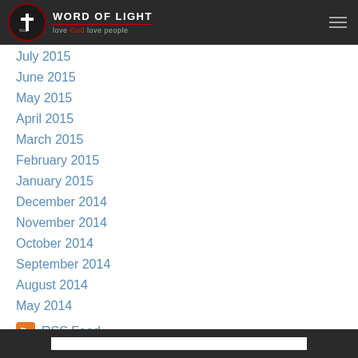Word of Light — love God love people
July 2015
June 2015
May 2015
April 2015
March 2015
February 2015
January 2015
December 2014
November 2014
October 2014
September 2014
August 2014
May 2014
RSS Feed